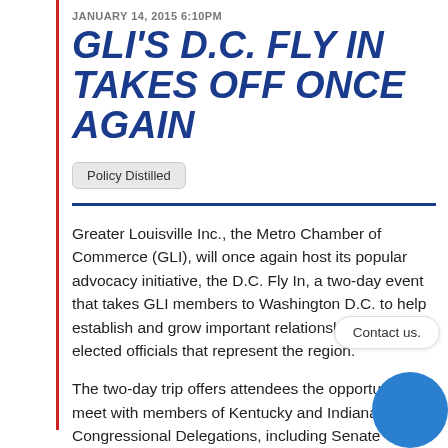JANUARY 14, 2015 6:10PM
GLI'S D.C. FLY IN TAKES OFF ONCE AGAIN
Policy Distilled
Greater Louisville Inc., the Metro Chamber of Commerce (GLI), will once again host its popular advocacy initiative, the D.C. Fly In, a two-day event that takes GLI members to Washington D.C. to help establish and grow important relationships with elected officials that represent the region.
The two-day trip offers attendees the opportunity to meet with members of Kentucky and Indiana's Congressional Delegations, including Senate Majority Leader Mitch McConnell, among officials...